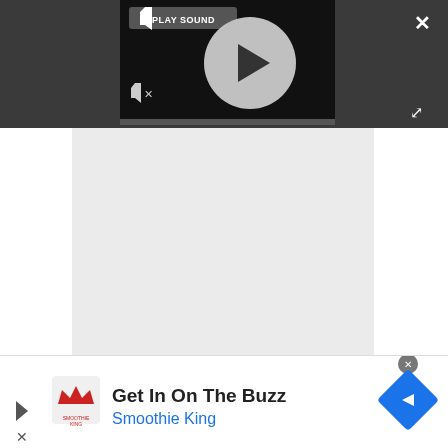[Figure (screenshot): Video player interface with dark background, play button circle, PLAY SOUND tooltip, mute icon, and progress bar]
PLAY SOUND
[Figure (screenshot): Advertisement placeholder area with light gray background and 'Advertisement' label]
Advertisement
[Figure (screenshot): Bottom banner advertisement for Smoothie King with 'Get In On The Buzz' headline, Smoothie King logo, blue subtext, and navigation arrow icon]